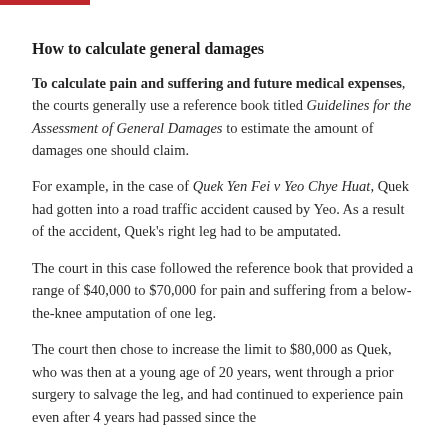How to calculate general damages
To calculate pain and suffering and future medical expenses, the courts generally use a reference book titled Guidelines for the Assessment of General Damages to estimate the amount of damages one should claim.
For example, in the case of Quek Yen Fei v Yeo Chye Huat, Quek had gotten into a road traffic accident caused by Yeo. As a result of the accident, Quek's right leg had to be amputated.
The court in this case followed the reference book that provided a range of $40,000 to $70,000 for pain and suffering from a below-the-knee amputation of one leg.
The court then chose to increase the limit to $80,000 as Quek, who was then at a young age of 20 years, went through a prior surgery to salvage the leg, and had continued to experience pain even after 4 years had passed since the